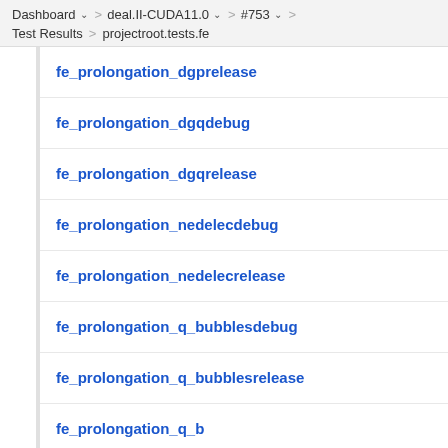Dashboard > deal.II-CUDA11.0 > #753 > Test Results > projectroot.tests.fe
fe_prolongation_dgprelease
fe_prolongation_dgqdebug
fe_prolongation_dgqrelease
fe_prolongation_nedelecdebug
fe_prolongation_nedelecrelease
fe_prolongation_q_bubblesdebug
fe_prolongation_q_bubblesrelease
fe_prolongation_q_b…